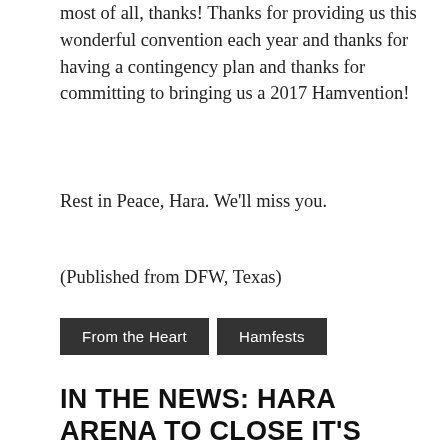most of all, thanks!  Thanks for providing us this wonderful convention each year and thanks for having a contingency plan and thanks for committing to bringing us a 2017 Hamvention!
Rest in Peace, Hara.  We'll miss you.
(Published from DFW, Texas)
From the Heart
Hamfests
IN THE NEWS: HARA ARENA TO CLOSE IT'S DOORS, HAMVENTION MOVING TO UNDISCLOSED LOCATION
July 29, 2016 | AD8BC | Leave a comment